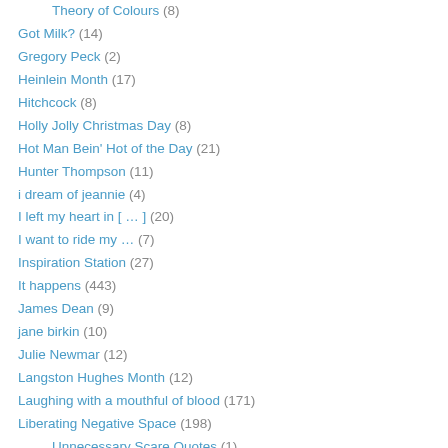Theory of Colours (8)
Got Milk? (14)
Gregory Peck (2)
Heinlein Month (17)
Hitchcock (8)
Holly Jolly Christmas Day (8)
Hot Man Bein' Hot of the Day (21)
Hunter Thompson (11)
i dream of jeannie (4)
I left my heart in [ … ] (20)
I want to ride my … (7)
Inspiration Station (27)
It happens (443)
James Dean (9)
jane birkin (10)
Julie Newmar (12)
Langston Hughes Month (12)
Laughing with a mouthful of blood (171)
Liberating Negative Space (198)
Unnecessary Scare Quotes (1)